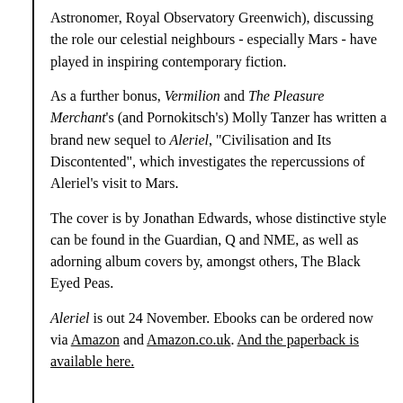Astronomer, Royal Observatory Greenwich), discussing the role our celestial neighbours - especially Mars - have played in inspiring contemporary fiction.
As a further bonus, Vermilion and The Pleasure Merchant's (and Pornokitsch's) Molly Tanzer has written a brand new sequel to Aleriel, "Civilisation and Its Discontented", which investigates the repercussions of Aleriel's visit to Mars.
The cover is by Jonathan Edwards, whose distinctive style can be found in the Guardian, Q and NME, as well as adorning album covers by, amongst others, The Black Eyed Peas.
Aleriel is out 24 November. Ebooks can be ordered now via Amazon and Amazon.co.uk. And the paperback is available here.